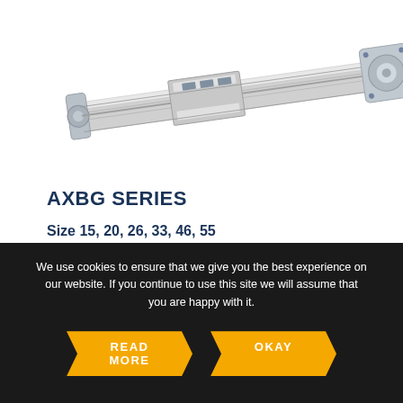[Figure (photo): Photo of a linear actuator / ball screw mechanism (AXBG series), metallic silver/chrome finish, shown diagonally from top-left to bottom-right.]
AXBG SERIES
Size 15, 20, 26, 33, 46, 55
Extremely compact design and very rigid steel profile
High positioning accuracy
Parallel AXIS
We use cookies to ensure that we give you the best experience on our website. If you continue to use this site we will assume that you are happy with it.